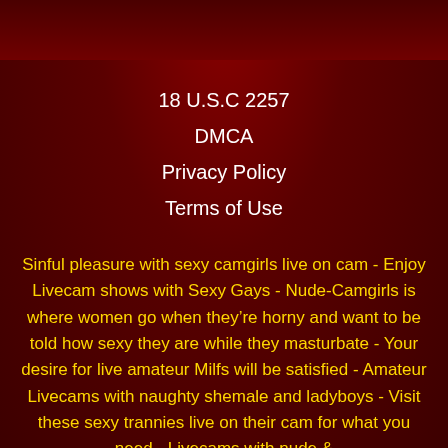18 U.S.C 2257
DMCA
Privacy Policy
Terms of Use
Sinful pleasure with sexy camgirls live on cam - Enjoy Livecam shows with Sexy Gays - Nude-Camgirls is where women go when they’re horny and want to be told how sexy they are while they masturbate - Your desire for live amateur Milfs will be satisfied - Amateur Livecams with naughty shemale and ladyboys - Visit these sexy trannies live on their cam for what you need - Livecams with nude &